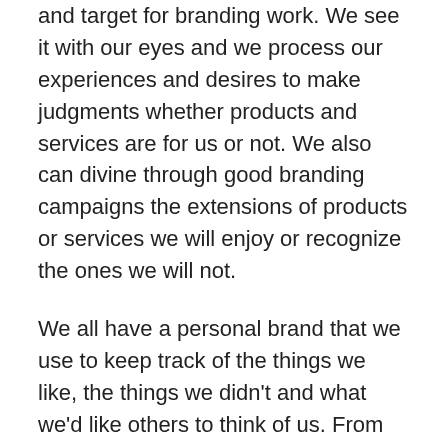and target for branding work. We see it with our eyes and we process our experiences and desires to make judgments whether products and services are for us or not. We also can divine through good branding campaigns the extensions of products or services we will enjoy or recognize the ones we will not.
We all have a personal brand that we use to keep track of the things we like, the things we didn't and what we'd like others to think of us. From this, we determine if products align with our brand. If they do, we buy. If not, we pass it by.
As the world moves into the future, we can extrapolate how much more dependent we will be on technology. Already we have begun to trust our mobile devices more than we trust our own senses or knowledge. Maps and